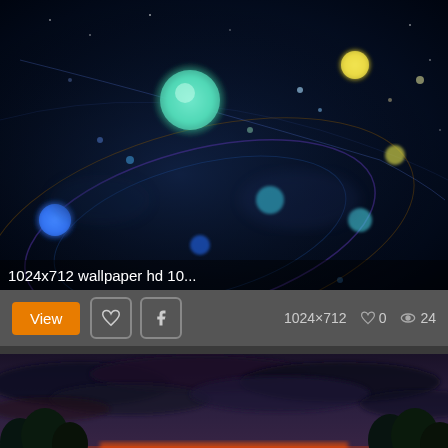[Figure (photo): Dark space scene with glowing colorful orbs and orbital rings on a dark blue/black background. A large cyan-green sphere is prominent in the upper center, with smaller blue, yellow, and teal orbs scattered throughout. Glowing orbital ring structures visible.]
1024x712 wallpaper hd 10...
View  |  Pinterest icon  |  Facebook icon  |  1024×712  ♡ 0  👁 24
[Figure (photo): HDR landscape photo of a river or lake at sunset/dusk. Dark storm clouds fill the upper sky with purple hues. Silhouetted trees line both sides. Bright orange-red glow on the horizon reflects on the water.]